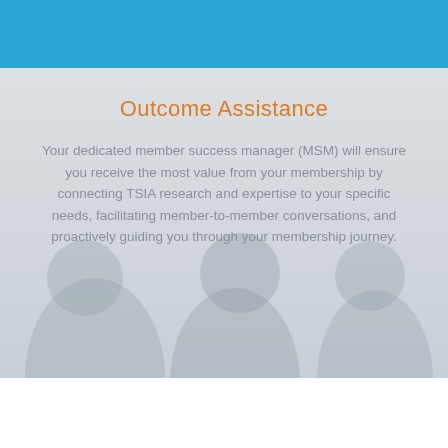[Figure (photo): Blue header bar at the top of the page]
Outcome Assistance
Your dedicated member success manager (MSM) will ensure you receive the most value from your membership by connecting TSIA research and expertise to your specific needs, facilitating member-to-member conversations, and proactively guiding you through your membership journey.
[Figure (photo): Background photo of people networking/conversing, shown in desaturated gray tones overlaid on a light gray background]